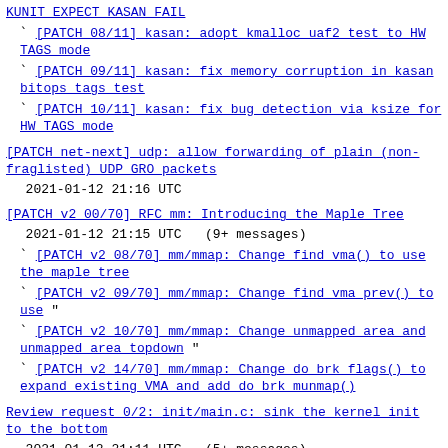KUNIT EXPECT KASAN FAIL
` [PATCH 08/11] kasan: adopt kmalloc uaf2 test to HW TAGS mode
` [PATCH 09/11] kasan: fix memory corruption in kasan bitops tags test
` [PATCH 10/11] kasan: fix bug detection via ksize for HW TAGS mode
[PATCH net-next] udp: allow forwarding of plain (non-fraglisted) UDP GRO packets
2021-01-12 21:16 UTC
[PATCH v2 00/70] RFC mm: Introducing the Maple Tree
2021-01-12 21:15 UTC  (9+ messages)
` [PATCH v2 08/70] mm/mmap: Change find vma() to use the maple tree
` [PATCH v2 09/70] mm/mmap: Change find vma prev() to use "
` [PATCH v2 10/70] mm/mmap: Change unmapped area and unmapped area topdown "
` [PATCH v2 14/70] mm/mmap: Change do brk flags() to expand existing VMA and add do brk munmap()
Review request 0/2: init/main.c: sink the kernel init to the bottom
2021-01-12 21:11 UTC  (5+ messages)
` [PATCH 1/2] init/main.c: fix strings split across lines
[PATCH V5 0/3] Decouple config data for configfs